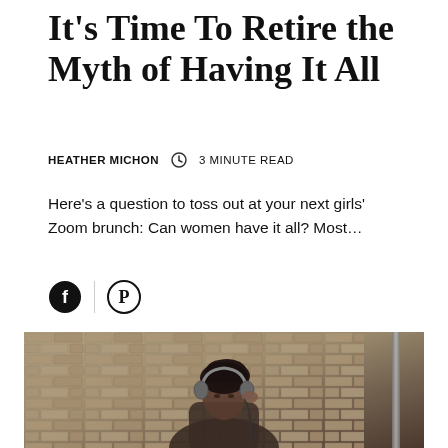It's Time To Retire the Myth of Having It All
HEATHER MICHON   ⊙ 3 MINUTE READ
Here's a question to toss out at your next girls' Zoom brunch: Can women have it all? Most…
[Figure (other): Social share icons: Facebook and Pinterest]
[Figure (photo): Black and white / sepia photo of a young woman with dark hair wearing headphones, leaning against a stone brick wall, looking downward. A pipe or drain is visible on the right side of the wall.]